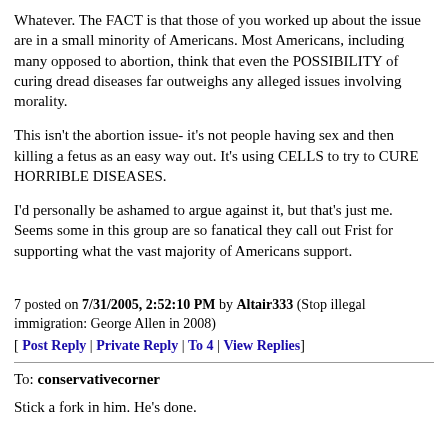Whatever. The FACT is that those of you worked up about the issue are in a small minority of Americans. Most Americans, including many opposed to abortion, think that even the POSSIBILITY of curing dread diseases far outweighs any alleged issues involving morality.
This isn't the abortion issue- it's not people having sex and then killing a fetus as an easy way out. It's using CELLS to try to CURE HORRIBLE DISEASES.
I'd personally be ashamed to argue against it, but that's just me. Seems some in this group are so fanatical they call out Frist for supporting what the vast majority of Americans support.
7 posted on 7/31/2005, 2:52:10 PM by Altair333 (Stop illegal immigration: George Allen in 2008)
[ Post Reply | Private Reply | To 4 | View Replies]
To: conservativecorner
Stick a fork in him. He's done.